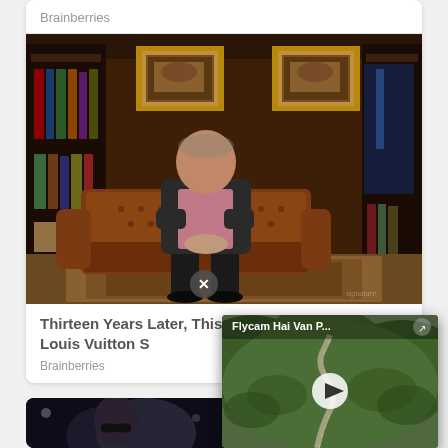Brainberries
[Figure (photo): An elderly man in a dark suit and pink shirt sitting on a brown leather sofa in a wood-paneled study with bookcases and framed paintings]
Thirteen Years Later, This Old Fossil Became A Louis Vuitton St
Brainberries
[Figure (photo): A man wearing sunglasses outdoors surrounded by people with cameras]
[Figure (screenshot): Video overlay popup showing aerial flycam footage of a winding mountain road through green hills. Title reads 'Flycam Hai Van P...' with a play button in the center]